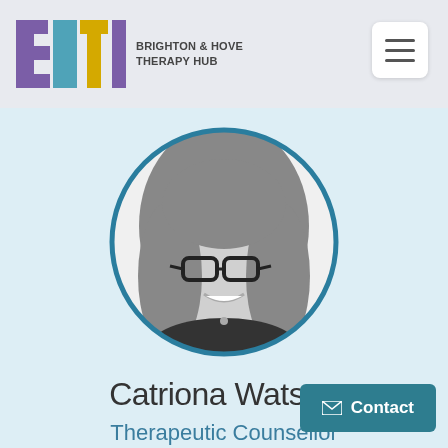[Figure (logo): BHTH Brighton & Hove Therapy Hub logo with colorful block letters B, H, T, H]
[Figure (photo): Black and white circular headshot photo of Catriona Watson, a woman with long wavy hair and glasses, smiling]
Catriona Watson
Therapeutic Counsellor
Contact